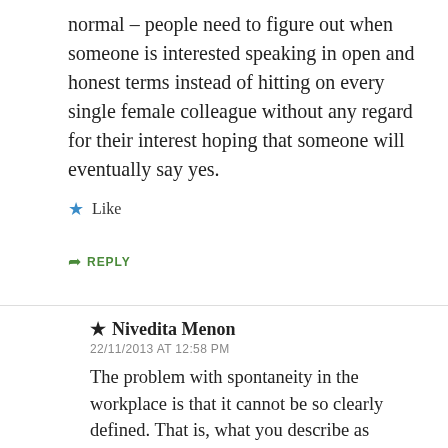normal – people need to figure out when someone is interested speaking in open and honest terms instead of hitting on every single female colleague without any regard for their interest hoping that someone will eventually say yes.
★ Like
↳ REPLY
★ Nivedita Menon
22/11/2013 AT 12:58 PM
The problem with spontaneity in the workplace is that it cannot be so clearly defined. That is, what you describe as acceptable behaviour would require many to curb their spontaneity. People have to think whether the joke they are about to make, the friendly gesture they take as normal, are in fact sexist and